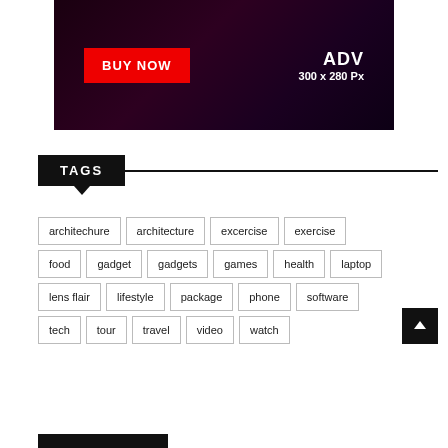[Figure (other): Dark-background advertisement banner with a red BUY NOW button on the left and ADV 300 x 280 Px text on the right]
TAGS
architechure
architecture
excercise
exercise
food
gadget
gadgets
games
health
laptop
lens flair
lifestyle
package
phone
software
tech
tour
travel
video
watch